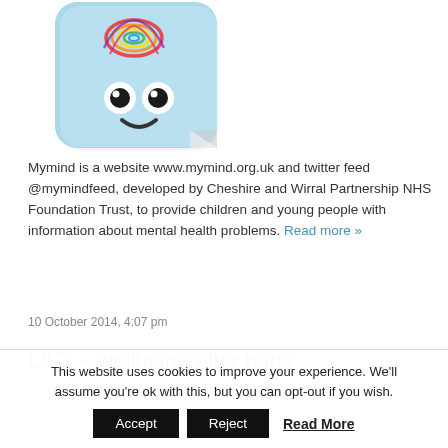[Figure (logo): Mymind app icon: blue rounded square with a cartoon face (two eyes and a smile) and a colorful fingerprint/brain pattern on top, with a folded corner at bottom right]
Mymind is a website www.mymind.org.uk and twitter feed @mymindfeed, developed by Cheshire and Wirral Partnership NHS Foundation Trust, to provide children and young people with information about mental health problems. Read more »
10 October 2014, 4:07 pm
LIFT – wellbeing after baby
This website uses cookies to improve your experience. We'll assume you're ok with this, but you can opt-out if you wish.